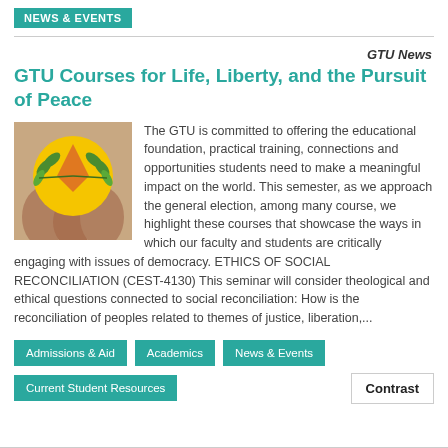NEWS & EVENTS
GTU News
GTU Courses for Life, Liberty, and the Pursuit of Peace
[Figure (illustration): Circular logo/illustration with yellow circle, orange angular shape, and green olive branch leaves, with hands holding it in the background]
The GTU is committed to offering the educational foundation, practical training, connections and opportunities students need to make a meaningful impact on the world. This semester, as we approach the general election, among many course, we highlight these courses that showcase the ways in which our faculty and students are critically engaging with issues of democracy. ETHICS OF SOCIAL RECONCILIATION (CEST-4130) This seminar will consider theological and ethical questions connected to social reconciliation: How is the reconciliation of peoples related to themes of justice, liberation,...
Admissions & Aid
Academics
News & Events
Current Student Resources
Contrast